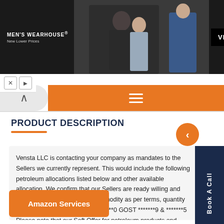[Figure (screenshot): Men's Wearhouse advertisement banner showing couple in formal wear and solo male model in blue suit with VIEW button]
MEN'S WEARHOUSE® New Lower Prices
PRODUCT DESCRIPTION
Vensta LLC is contacting your company as mandates to the Sellers we currently represent. This would include the following petroleum allocations listed below and other available allocation. We confirm that our Sellers are ready willing and able to supply the following commodity as per terms, quantity and prices below: M**0 - MAZUT **0 GOST *******9 & *******5 Please note that our Soft Offer for petroleum products and prices for item 3) and 4) will be expired on May *8, ***9. These are SPOT deals which end
Amazon Services